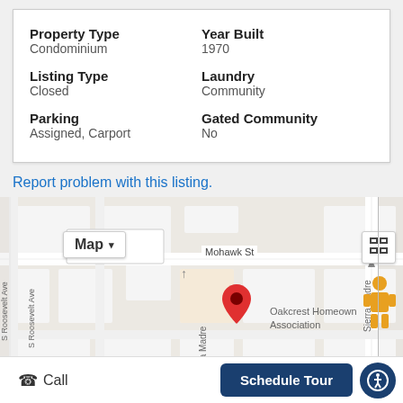| Property Type | Year Built | Listing Type | Laundry | Parking | Gated Community |
| --- | --- | --- | --- | --- | --- |
| Condominium | 1970 | Closed | Community | Assigned, Carport | No |
Report problem with this listing.
[Figure (map): Google map showing property location with red pin marker near Sierra Madre street, Mohawk St visible, with Oakcrest Homeowners Association label. Map controls include Map/Satellite toggle and fullscreen button. Street view pegman icon visible.]
Call
Schedule Tour